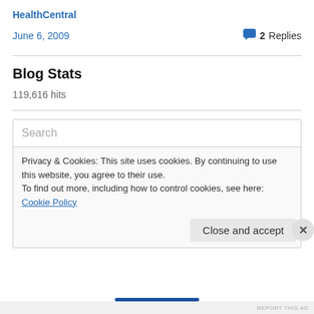HealthCentral
June 6, 2009
2 Replies
Blog Stats
119,616 hits
Search
Privacy & Cookies: This site uses cookies. By continuing to use this website, you agree to their use.
To find out more, including how to control cookies, see here: Cookie Policy
Close and accept